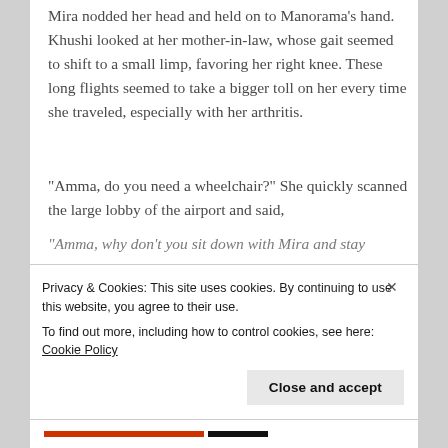Mira nodded her head and held on to Manorama's hand. Khushi looked at her mother-in-law, whose gait seemed to shift to a small limp, favoring her right knee. These long flights seemed to take a bigger toll on her every time she traveled, especially with her arthritis.
“Amma, do you need a wheelchair?” She quickly scanned the large lobby of the airport and said,
“Amma, why don’t you sit down with Mira and stay
Privacy & Cookies: This site uses cookies. By continuing to use this website, you agree to their use.
To find out more, including how to control cookies, see here: Cookie Policy
Close and accept